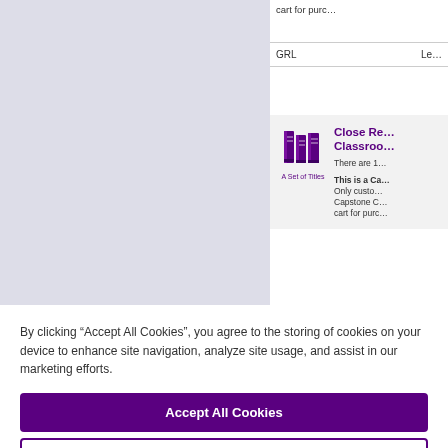[Figure (illustration): Light purple/lavender placeholder book cover image area]
| GRL | Le… |
| --- | --- |
cart for purc…
[Figure (logo): Purple stacked books icon with label 'A Set of Titles']
Close Re… Classroo…
There are 1…
This is a Ca… Only custo… Capstone C… cart for purc…
By clicking “Accept All Cookies”, you agree to the storing of cookies on your device to enhance site navigation, analyze site usage, and assist in our marketing efforts.
Accept All Cookies
Cookies Settings